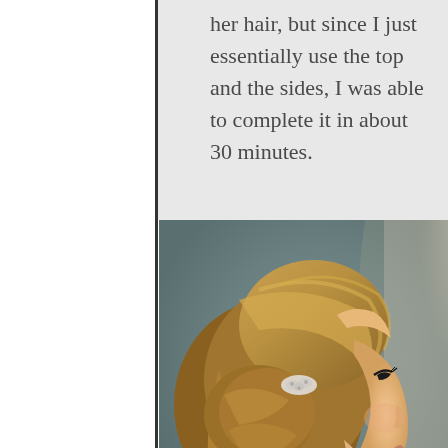her hair, but since I just essentially use the top and the sides, I was able to complete it in about 30 minutes.
[Figure (photo): Side profile of a young blonde woman with an elegant updo hairstyle, featuring a decorative hair clip/accessory. The hair is swept up in a loose, romantic style. Background is muted teal/grey. The woman is facing right.]